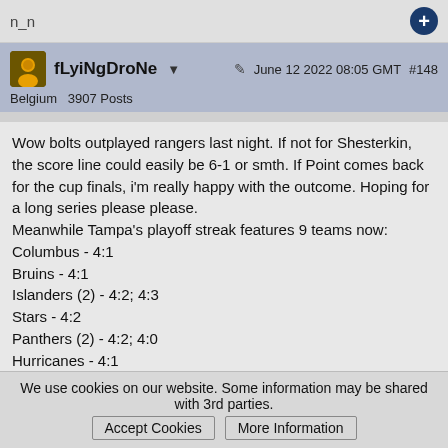n_n
fLyiNgDroNe ▾   June 12 2022 08:05 GMT  #148
Belgium  3907 Posts
Wow bolts outplayed rangers last night. If not for Shesterkin, the score line could easily be 6-1 or smth. If Point comes back for the cup finals, i'm really happy with the outcome. Hoping for a long series please please.
Meanwhile Tampa's playoff streak features 9 teams now:
Columbus - 4:1
Bruins - 4:1
Islanders (2) - 4:2; 4:3
Stars - 4:2
Panthers (2) - 4:2; 4:0
Hurricanes - 4:1
Hubs - 4:1
Leafs - 4:3
Rangers - 4:2
Avs could be number 10. total wins vs losses in this streak: 44-18 vs top NHL teams, that also win.
That's quite the dominance if you ask me. In the last 8 seasons: 4 times cup finals; 6 times conference finals. This Jon Cooper fella might very
We use cookies on our website. Some information may be shared with 3rd parties.  Accept Cookies  More Information